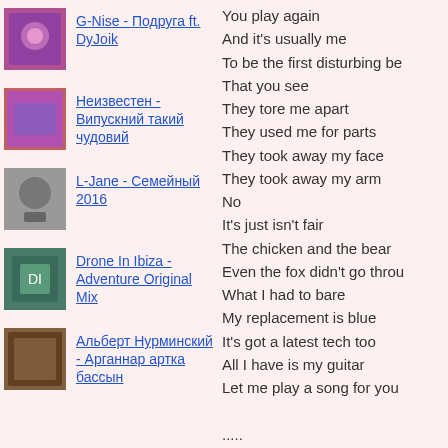G-Nise - Подруга ft. DyJoik
Неизвестен - Випускний такий чудовий
L-Jane - Семейный 2016
Drone In Ibiza - Adventure Original Mix
Альберт Нурминский - Арганнар артка бассын
You play again
And it's usually me
To be the first disturbing be
That you see
They tore me apart
They used me for parts
They took away my face
They took away my arm
No
It's just isn't fair
The chicken and the bear
Even the fox didn't go throu
What I had to bare
My replacement is blue
It's got a latest tech too
All I have is my guitar
Let me play a song for you
.....
Now with red glowing eyes
I'll be your demise
As my endoskeletons decid
My name's Bonnie
I'm the big purple bunny
I play guitar in a band
Don't you forget who I am..
My replacement is blue
It's got a latest tech too
It's shiny and brand new..
Now with red glowing eyes
I'll be your demise
As my endoskeletons deci